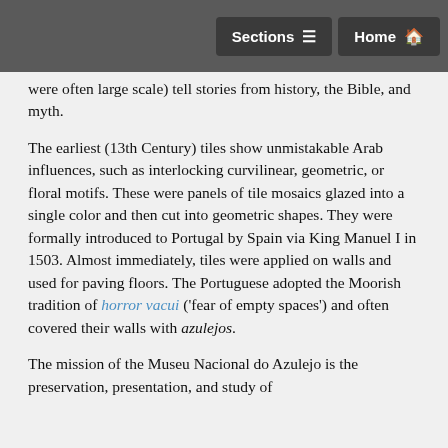Sections | Home
were often large scale) tell stories from history, the Bible, and myth.
The earliest (13th Century) tiles show unmistakable Arab influences, such as interlocking curvilinear, geometric, or floral motifs. These were panels of tile mosaics glazed into a single color and then cut into geometric shapes. They were formally introduced to Portugal by Spain via King Manuel I in 1503. Almost immediately, tiles were applied on walls and used for paving floors. The Portuguese adopted the Moorish tradition of horror vacui ('fear of empty spaces') and often covered their walls with azulejos.
The mission of the Museu Nacional do Azulejo is the preservation, presentation, and study of